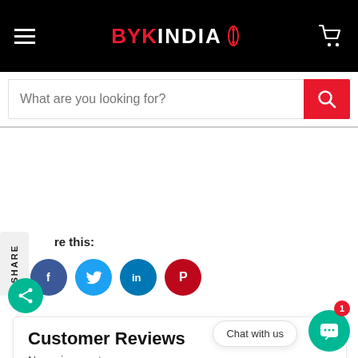BYKINDIA
What are you looking for?
Share this:
[Figure (infographic): Social media sharing icons: Facebook, Twitter, LinkedIn, Pinterest, and a green share floating button]
Customer Reviews
No reviews yet
Chat with us